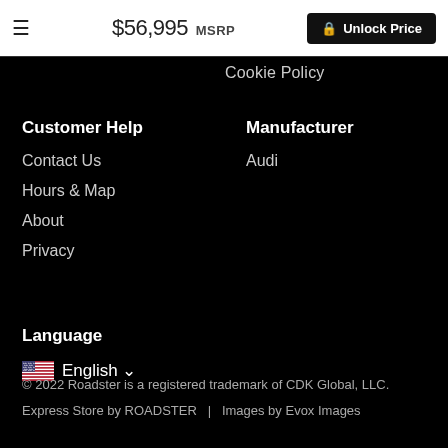$56,995 MSRP  Unlock Price
Cookie Policy
Customer Help
Contact Us
Hours & Map
About
Privacy
Manufacturer
Audi
Language
English
© 2022 Roadster is a registered trademark of CDK Global, LLC.
Express Store by ROADSTER   |   Images by Evox Images